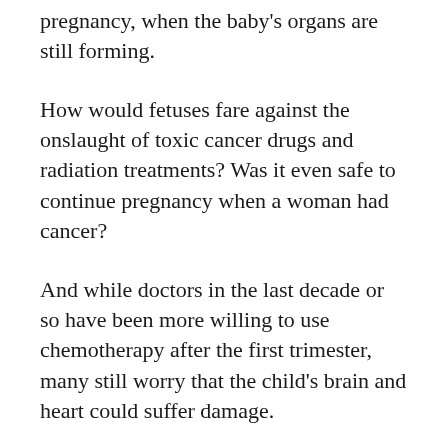pregnancy, when the baby's organs are still forming.
How would fetuses fare against the onslaught of toxic cancer drugs and radiation treatments? Was it even safe to continue pregnancy when a woman had cancer?
And while doctors in the last decade or so have been more willing to use chemotherapy after the first trimester, many still worry that the child's brain and heart could suffer damage.
On the other hand, putting off the treatment could allow the cancer to spread.
Right now, only about one in 1,000 pregnant women face this dilemma. But numbers are bound to climb, as more women are delaying having children until they're older, when the risk of cancer is greater.